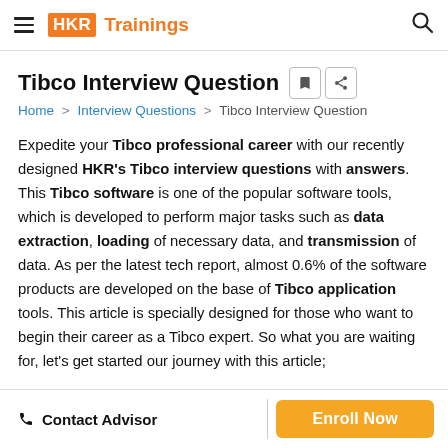HKR Trainings
Tibco Interview Question
Home > Interview Questions > Tibco Interview Question
Expedite your Tibco professional career with our recently designed HKR's Tibco interview questions with answers. This Tibco software is one of the popular software tools, which is developed to perform major tasks such as data extraction, loading of necessary data, and transmission of data. As per the latest tech report, almost 0.6% of the software products are developed on the base of Tibco application tools. This article is specially designed for those who want to begin their career as a Tibco expert. So what you are waiting for, let's get started our journey with this article;
Contact Advisor | Enroll Now